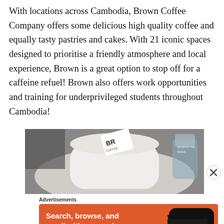With locations across Cambodia, Brown Coffee Company offers some delicious high quality coffee and equally tasty pastries and cakes. With 21 iconic spaces designed to prioritise a friendly atmosphere and local experience, Brown is a great option to stop off for a caffeine refuel! Brown also offers work opportunities and training for underprivileged students throughout Cambodia!
[Figure (photo): Close-up photo of a white cup/container with a Brown Coffee Company label/card sticking out of it, with blurred background.]
Advertisements
[Figure (infographic): DuckDuckGo advertisement banner with orange background. Text reads: Search, browse, and email with more privacy. All in One Free App. Shows a smartphone with DuckDuckGo logo.]